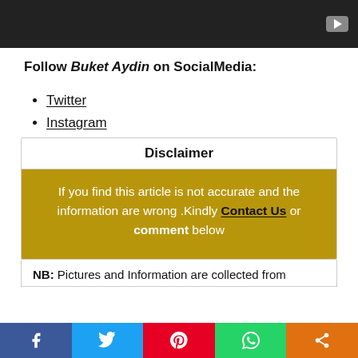[Figure (other): Dark video thumbnail with play button in top right corner]
Follow Buket Aydin on SocialMedia:
Twitter
Instagram
Disclaimer
If you find this article is not accurate and the information are wrong .Kindly Contact Us or comment below
NB: Pictures and Information are collected from
[Figure (infographic): Social media share bar with Facebook, Twitter, Pinterest, WhatsApp, and share icons]